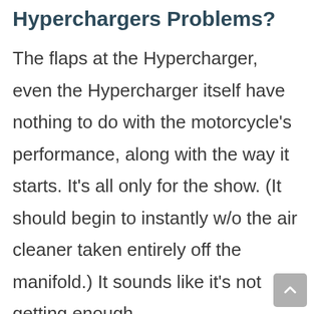Hyperchargers Problems?
The flaps at the Hypercharger, even the Hypercharger itself have nothing to do with the motorcycle's performance, along with the way it starts. It's all only for the show. (It should begin to instantly w/o the air cleaner taken entirely off the manifold.) It sounds like it's not getting enough